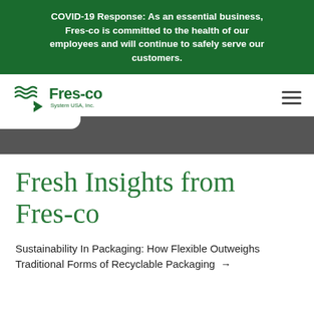COVID-19 Response: As an essential business, Fres-co is committed to the health of our employees and will continue to safely serve our customers.
[Figure (logo): Fres-co System USA, Inc. logo with green wave/leaf icon and green wordmark]
Fresh Insights from Fres-co
Sustainability In Packaging: How Flexible Outweighs Traditional Forms of Recyclable Packaging →